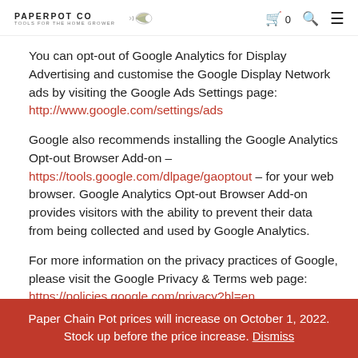PAPERPOT CO | TOOLS FOR THE HOME GROWER | cart 0 | search | menu
You can opt-out of Google Analytics for Display Advertising and customise the Google Display Network ads by visiting the Google Ads Settings page: http://www.google.com/settings/ads
Google also recommends installing the Google Analytics Opt-out Browser Add-on – https://tools.google.com/dlpage/gaoptout – for your web browser. Google Analytics Opt-out Browser Add-on provides visitors with the ability to prevent their data from being collected and used by Google Analytics.
For more information on the privacy practices of Google, please visit the Google Privacy & Terms web page: https://policies.google.com/privacy?hl=en
Facebook
Paper Chain Pot prices will increase on October 1, 2022. Stock up before the price increase. Dismiss